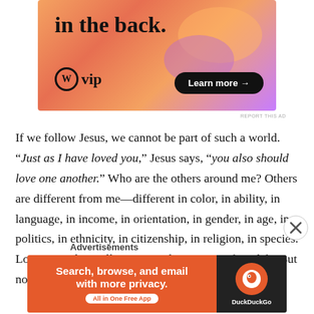[Figure (screenshot): WordPress VIP advertisement banner with orange/purple gradient background, bold text 'in the back.' and WordPress VIP logo with 'Learn more →' button]
REPORT THIS AD
If we follow Jesus, we cannot be part of such a world. "Just as I have loved you," Jesus says, "you also should love one another." Who are the others around me? Others are different from me—different in color, in ability, in language, in income, in orientation, in gender, in age, in politics, in ethnicity, in citizenship, in religion, in species. Loving another will cost me at least a part of my life. But not loving will cost me my humanity. Even
Advertisements
[Figure (screenshot): DuckDuckGo advertisement: 'Search, browse, and email with more privacy. All in One Free App' with DuckDuckGo logo on dark background]